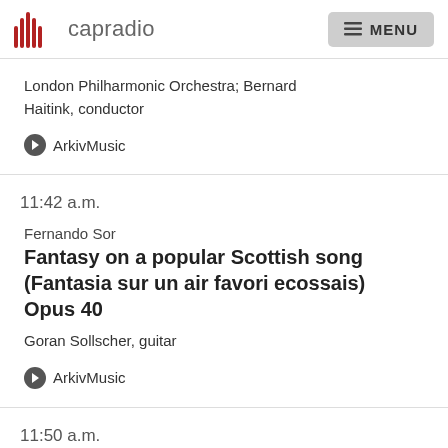capradio   MENU
London Philharmonic Orchestra; Bernard Haitink, conductor
ArkivMusic
11:42 a.m.
Fernando Sor
Fantasy on a popular Scottish song (Fantasia sur un air favori ecossais) Opus 40
Goran Sollscher, guitar
ArkivMusic
11:50 a.m.